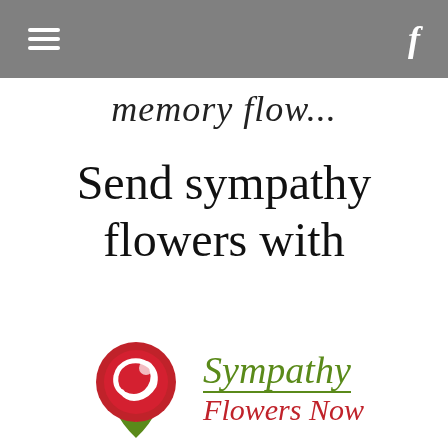Navigation bar with hamburger menu and Facebook icon
memory flow...
Send sympathy flowers with
[Figure (logo): Sympathy Flowers Now logo: a stylized red rose spiral with green leaf stem, next to text reading 'Sympathy Flowers Now' in green italic and red italic]